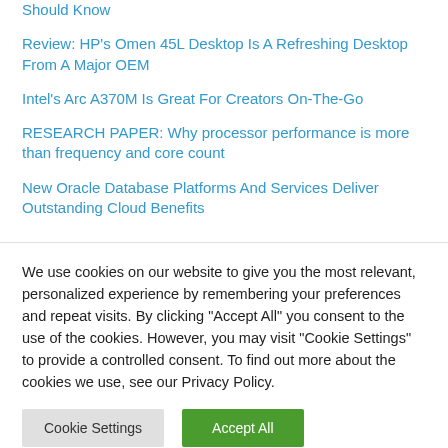Should Know
Review: HP's Omen 45L Desktop Is A Refreshing Desktop From A Major OEM
Intel's Arc A370M Is Great For Creators On-The-Go
RESEARCH PAPER: Why processor performance is more than frequency and core count
New Oracle Database Platforms And Services Deliver Outstanding Cloud Benefits
We use cookies on our website to give you the most relevant, personalized experience by remembering your preferences and repeat visits. By clicking "Accept All" you consent to the use of the cookies. However, you may visit "Cookie Settings" to provide a controlled consent. To find out more about the cookies we use, see our Privacy Policy.
Cookie Settings | Accept All